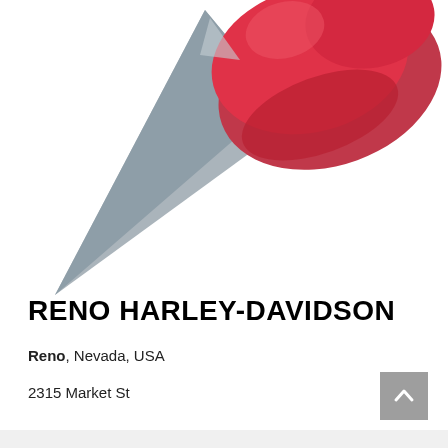[Figure (illustration): A large red pushpin/thumbtack illustration partially cropped at the top of the page, with a gray metallic pin needle pointing to the lower left. The pin head is red with darker red shadows.]
RENO HARLEY-DAVIDSON
Reno, Nevada, USA
2315 Market St